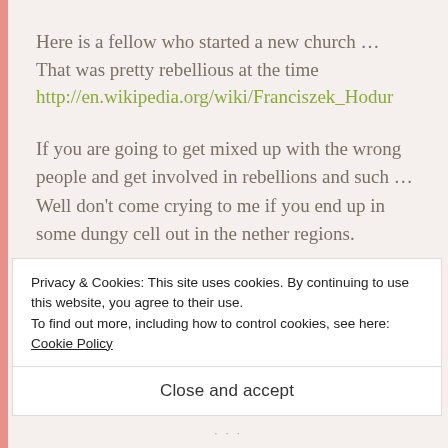Here is a fellow who started a new church … That was pretty rebellious at the time
http://en.wikipedia.org/wiki/Franciszek_Hodur
If you are going to get mixed up with the wrong people and get involved in rebellions and such … Well don't come crying to me if you end up in some dungy cell out in the nether regions.
You've changed your mind? You are fed up with fighting and revolutions? You want to retire to a
Privacy & Cookies: This site uses cookies. By continuing to use this website, you agree to their use.
To find out more, including how to control cookies, see here: Cookie Policy
Close and accept